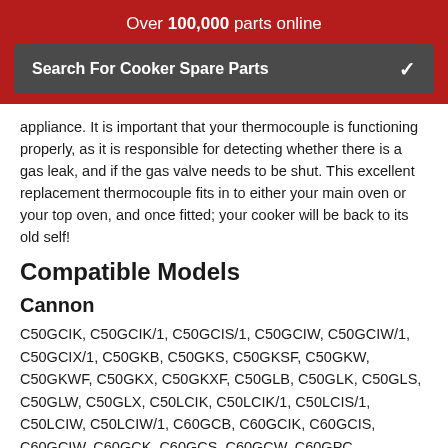Over 100,000 parts online
Search For Cooker Spare Parts
appliance. It is important that your thermocouple is functioning properly, as it is responsible for detecting whether there is a gas leak, and if the gas valve needs to be shut. This excellent replacement thermocouple fits in to either your main oven or your top oven, and once fitted; your cooker will be back to its old self!
Compatible Models
Cannon
C50GCIK, C50GCIK/1, C50GCIS/1, C50GCIW, C50GCIW/1, C50GCIX/1, C50GKB, C50GKS, C50GKSF, C50GKW, C50GKWF, C50GKX, C50GKXF, C50GLB, C50GLK, C50GLS, C50GLW, C50GLX, C50LCIK, C50LCIK/1, C50LCIS/1, C50LCIW, C50LCIW/1, C60GCB, C60GCIK, C60GCIS, C60GCIW, C60GCK, C60GCS, C60GCW, C60GPC, C60GPCF, C60GPX, C60GPXF, C60GTS, C60GTSF,